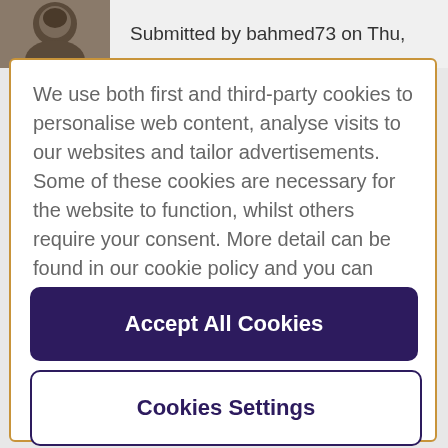Submitted by bahmed73 on Thu,
We use both first and third-party cookies to personalise web content, analyse visits to our websites and tailor advertisements. Some of these cookies are necessary for the website to function, whilst others require your consent. More detail can be found in our cookie policy and you can tailor your choices in the preference centre.
Accept All Cookies
Cookies Settings